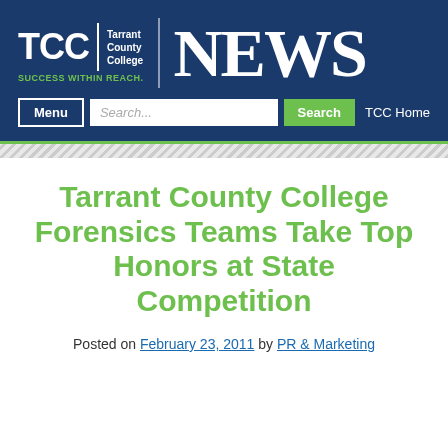[Figure (logo): TCC Tarrant County College NEWS logo with navigation bar on dark blue background]
Tarrant County College Forensics Teams Take Top Honors at State Competition
Posted on February 23, 2011 by PR & Marketing